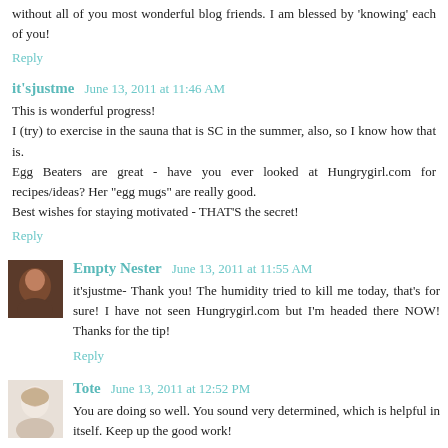without all of you most wonderful blog friends. I am blessed by 'knowing' each of you!
Reply
it'sjustme  June 13, 2011 at 11:46 AM
This is wonderful progress!
I (try) to exercise in the sauna that is SC in the summer, also, so I know how that is.
Egg Beaters are great - have you ever looked at Hungrygirl.com for recipes/ideas? Her "egg mugs" are really good.
Best wishes for staying motivated - THAT'S the secret!
Reply
Empty Nester  June 13, 2011 at 11:55 AM
it'sjustme- Thank you! The humidity tried to kill me today, that's for sure! I have not seen Hungrygirl.com but I'm headed there NOW! Thanks for the tip!
Reply
Tote  June 13, 2011 at 12:52 PM
You are doing so well. You sound very determined, which is helpful in itself. Keep up the good work!